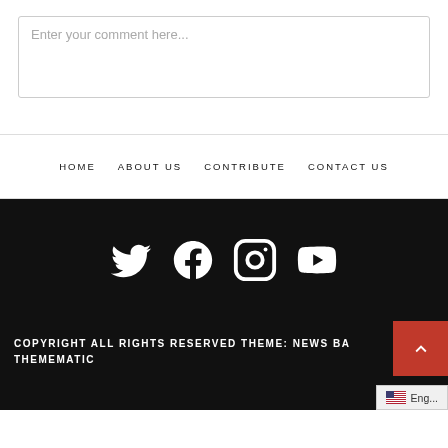Enter your comment here...
HOME   ABOUT US   CONTRIBUTE   CONTACT US
[Figure (illustration): Social media icons: Twitter, Facebook, Instagram, YouTube on black background]
COPYRIGHT ALL RIGHTS RESERVED THEME: NEWS BASE BY THEMEMATIC